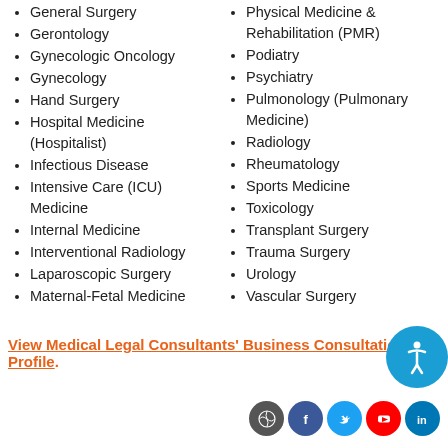General Surgery
Gerontology
Gynecologic Oncology
Gynecology
Hand Surgery
Hospital Medicine (Hospitalist)
Infectious Disease
Intensive Care (ICU) Medicine
Internal Medicine
Interventional Radiology
Laparoscopic Surgery
Maternal-Fetal Medicine
Physical Medicine & Rehabilitation (PMR)
Podiatry
Psychiatry
Pulmonology (Pulmonary Medicine)
Radiology
Rheumatology
Sports Medicine
Toxicology
Transplant Surgery
Trauma Surgery
Urology
Vascular Surgery
View Medical Legal Consultants' Business Consultation Profile.
Social media icons: WordPress, Facebook, Twitter, YouTube, LinkedIn